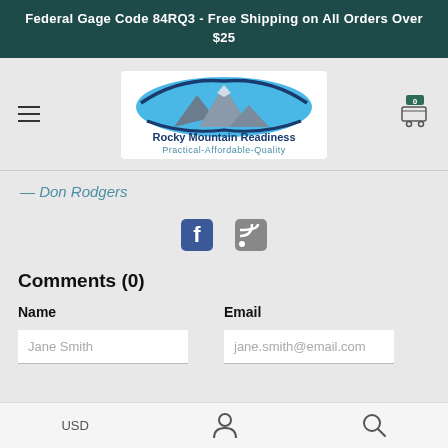Federal Gage Code 84RQ3 - Free Shipping on All Orders Over $25
[Figure (logo): Rocky Mountain Readiness logo with mountain and blue oval, tagline: Practical-Affordable-Quality]
— Don Rodgers
[Figure (infographic): Facebook and RSS feed social media icons]
Comments (0)
Name
Email
Jane Smith
jane.smith@email.com
USD | person icon | search icon